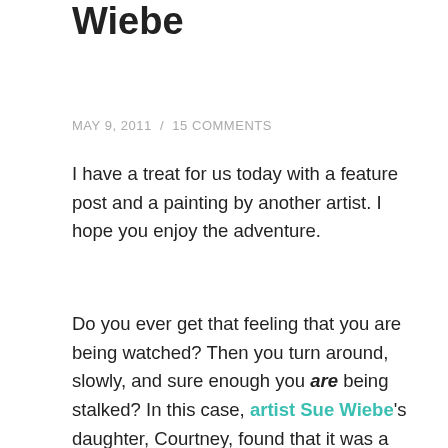Wiebe
MAY 9, 2011  /  15 COMMENTS
I have a treat for us today with a feature post and a painting by another artist. I hope you enjoy the adventure.
Do you ever get that feeling that you are being watched? Then you turn around, slowly, and sure enough you are being stalked? In this case, artist Sue Wiebe's daughter, Courtney, found that it was a cougar and was able to take a photograph of it that Sue used as a reference for her original oil painting WATCHING.
Fortunately for us, Sue took some photographs of her